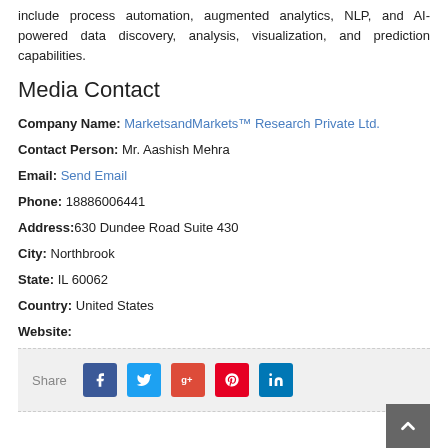include process automation, augmented analytics, NLP, and AI-powered data discovery, analysis, visualization, and prediction capabilities.
Media Contact
Company Name: MarketsandMarkets™ Research Private Ltd.
Contact Person: Mr. Aashish Mehra
Email: Send Email
Phone: 18886006441
Address: 630 Dundee Road Suite 430
City: Northbrook
State: IL 60062
Country: United States
Website: https://www.marketsandmarkets.com/Market-Reports/rpa-hyperautomation-market-32171963.html
[Figure (infographic): Social share bar with Facebook, Twitter, Google+, Pinterest, and LinkedIn buttons]